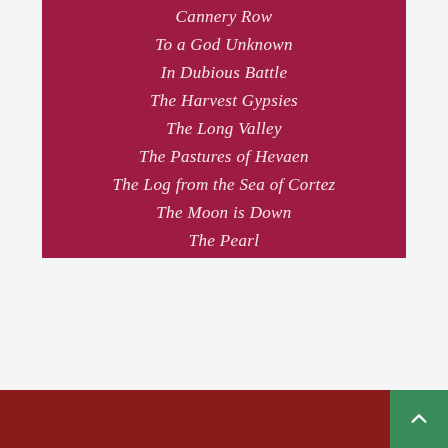[Figure (illustration): Dark crimson/maroon book cover or panel listing titles of John Steinbeck works in italic white serif font: Cannery Row, To a God Unknown, In Dubious Battle, The Harvest Gypsies, The Long Valley, The Pastures of Hevaen, The Log from the Sea of Cortez, The Moon is Down, The Pearl]
Cannery Row
To a God Unknown
In Dubious Battle
The Harvest Gypsies
The Long Valley
The Pastures of Hevaen
The Log from the Sea of Cortez
The Moon is Down
The Pearl